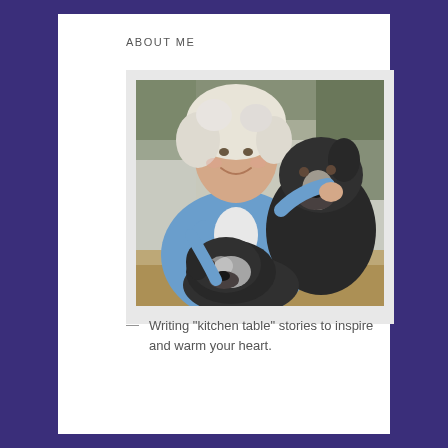ABOUT ME
[Figure (photo): A smiling woman with curly white/blonde hair wearing a blue hoodie, outdoors with two large black and white dogs, trees and natural landscape in background.]
— Writing "kitchen table" stories to inspire and warm your heart.